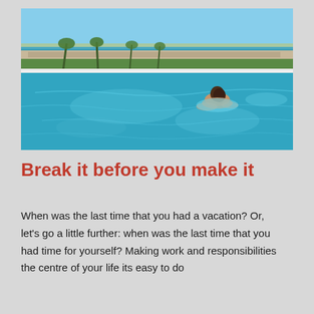[Figure (photo): Person swimming in an infinity pool overlooking the ocean with palm trees and a causeway in the background under a blue sky.]
Break it before you make it
When was the last time that you had a vacation? Or, let's go a little further: when was the last time that you had time for yourself? Making work and responsibilities the centre of your life its easy to do...